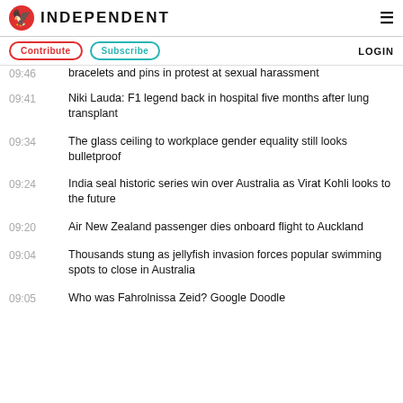INDEPENDENT
Contribute | Subscribe | LOGIN
09:46 — bracelets and pins in protest at sexual harassment
09:41 — Niki Lauda: F1 legend back in hospital five months after lung transplant
09:34 — The glass ceiling to workplace gender equality still looks bulletproof
09:24 — India seal historic series win over Australia as Virat Kohli looks to the future
09:20 — Air New Zealand passenger dies onboard flight to Auckland
09:04 — Thousands stung as jellyfish invasion forces popular swimming spots to close in Australia
09:05 — Who was Fahrolnissa Zeid? Google Doodle